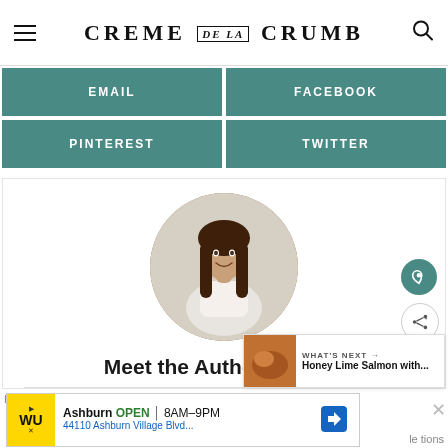CREME DE LA CRUMB
| EMAIL | FACEBOOK |
| PINTEREST | TWITTER |
[Figure (photo): Circular profile photo of a woman with long dark hair, smiling, standing in a kitchen wearing a white blouse]
Meet the Author: Tiffany
Honey Lime Salmon with...
Ashburn OPEN 8AM–9PM 44110 Ashburn Village Blvd...